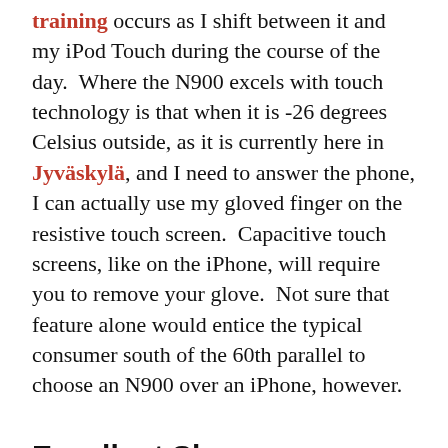training occurs as I shift between it and my iPod Touch during the course of the day.  Where the N900 excels with touch technology is that when it is -26 degrees Celsius outside, as it is currently here in Jyväskylä, and I need to answer the phone, I can actually use my gloved finger on the resistive touch screen.  Capacitive touch screens, like on the iPhone, will require you to remove your glove.  Not sure that feature alone would entice the typical consumer south of the 60th parallel to choose an N900 over an iPhone, however.
Excellent Skype Integration
What is there to like about the N900? The number one feature for me is the seamless integration of Skype with the base cellular telephone functionality of the device. When you first set up your Skype account, all of your Skype contacts are imported in